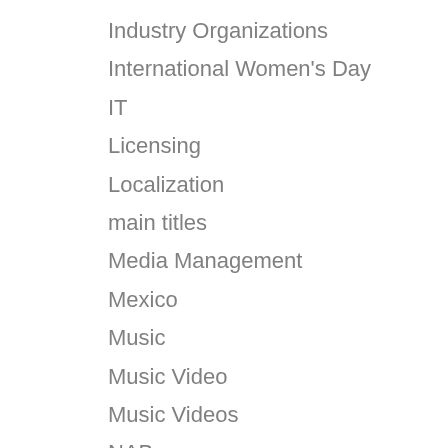Industry Organizations
International Women's Day
IT
Licensing
Localization
main titles
Media Management
Mexico
Music
Music Video
Music Videos
NAB
New Products
Other
people on the move